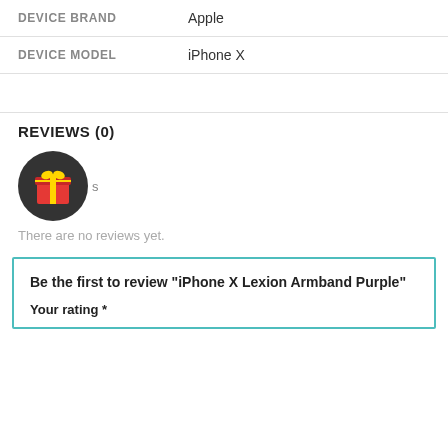| DEVICE BRAND | Apple |
| DEVICE MODEL | iPhone X |
REVIEWS (0)
[Figure (illustration): Circular dark icon with a gift box emoji (red box with yellow ribbon)]
There are no reviews yet.
Be the first to review “iPhone X Lexion Armband Purple”
Your rating *